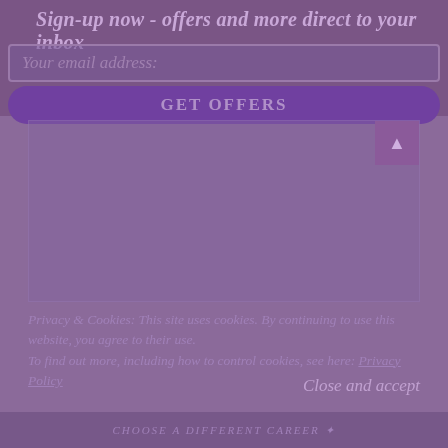Sign-up now - offers and more direct to your inbox
Your email address:
GET OFFERS
[Figure (screenshot): Empty content area / ad placeholder with scroll-to-top button in upper right corner]
Privacy & Cookies: This site uses cookies. By continuing to use this website, you agree to their use.
To find out more, including how to control cookies, see here: Privacy Policy
Close and accept
CHOOSE A DIFFERENT CAREER